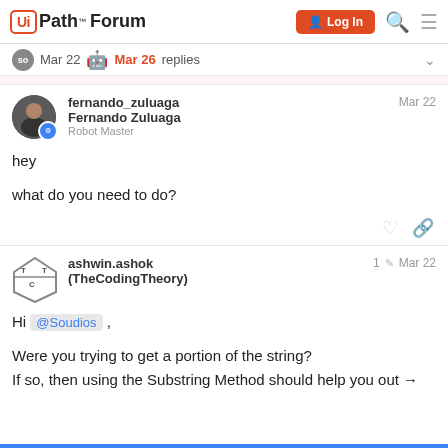UiPath Forum — Log In
Mar 22  Mar 26  replies
fernando_zuluaga
Fernando Zuluaga
Robot Master
Mar 22
hey
what do you need to do?
ashwin.ashok (TheCodingTheory)
1  Mar 22
Hi @Soudios ,
Were you trying to get a portion of the string?
If so, then using the Substring Method should help you out →